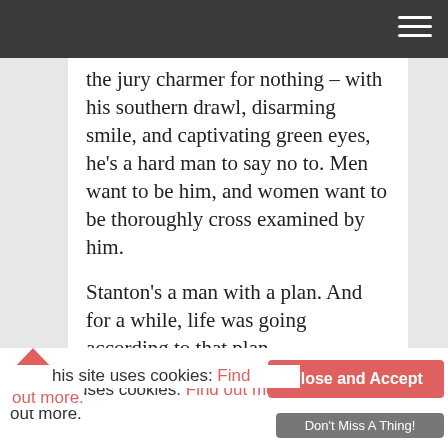the jury charmer for nothing – with his southern drawl, disarming smile, and captivating green eyes, he's a hard man to say no to. Men want to be him, and women want to be thoroughly cross examined by him.
Stanton's a man with a plan. And for a while, life was going according to that plan.
Until the day he receives an invitation to the wedding of his high school sweetheart, the mother of his beloved ten-year-
This site uses cookies: Find out more.
Close and Accept
Don't Miss A Thing!